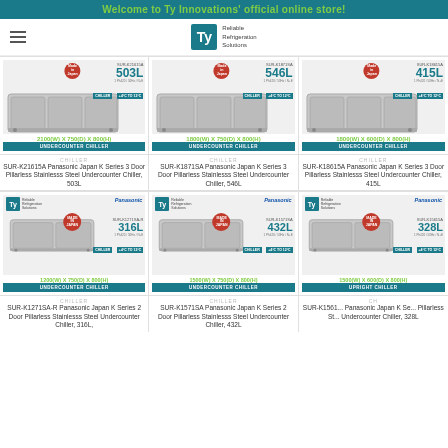Welcome to Ty Innovations' official online store!
[Figure (screenshot): Ty Innovations Reliable Refrigeration Solutions logo with navigation hamburger menu]
[Figure (photo): SUR-K21615A undercounter chiller product card, 503L, 2100(W) x 750(D) x 800(H)]
[Figure (photo): SUR-K1871SA undercounter chiller product card, 546L, 1800(W) x 750(D) x 800(H)]
[Figure (photo): SUR-K18615A undercounter chiller product card, 415L, 1800(W) x 600(D) x 800(H)]
[Figure (photo): SUR-K1271SA-R undercounter chiller product card, 316L, 1200(W) x 750(D) x 800(H)]
[Figure (photo): SUR-K1571SA undercounter chiller product card, 432L, 1500(W) x 750(D) x 800(H)]
[Figure (photo): SUR-K15615A upright chiller product card, 328L, 1500(W) x 600(D) x 800(H)]
SUR-K21615A Panasonic Japan K Series 3 Door Pillarless Stainlesss Steel Undercounter Chiller, 503L
SUR-K1871SA Panasonic Japan K Series 3 Door Pillarless Stainlesss Steel Undercounter Chiller, 546L
SUR-K18615A Panasonic Japan K Series 3 Door Pillarless Stainlesss Steel Undercounter Chiller, 415L
SUR-K1271SA-R Panasonic Japan K Series 2 Door Pillarless Stainlesss Steel Undercounter Chiller, 316L
SUR-K1571SA Panasonic Japan K Series 2 Door Pillarless Stainlesss Steel Undercounter Chiller, 432L
SUR-K15615A Panasonic Japan K Series Pillarless Stainlesss Steel Undercounter Chiller, 328L